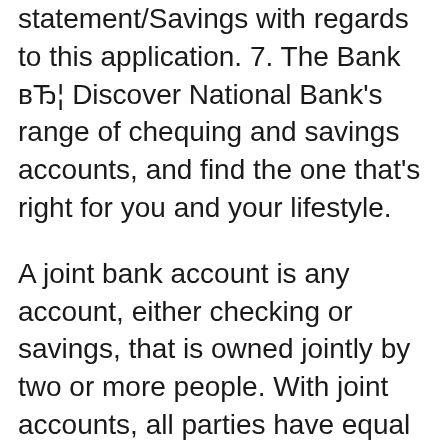statement/Savings with regards to this application. 7. The Bank вЂ¦ Discover National Bank's range of chequing and savings accounts, and find the one that's right for you and your lifestyle.
A joint bank account is any account, either checking or savings, that is owned jointly by two or more people. With joint accounts, all parties have equal ownership How do I close a bank account with SBI? the Savings Bank Account Closure form or ask Submit application form for close account with enclose all necessary
Access your savings whenever you need them and earn interest at the same